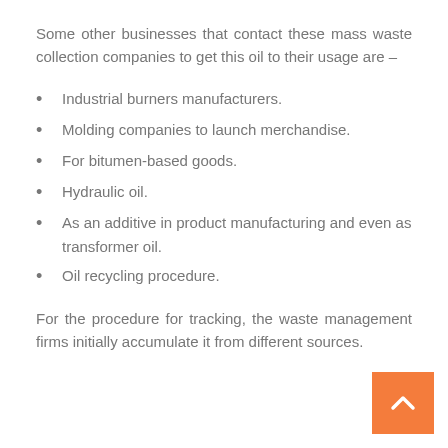Some other businesses that contact these mass waste collection companies to get this oil to their usage are –
Industrial burners manufacturers.
Molding companies to launch merchandise.
For bitumen-based goods.
Hydraulic oil.
As an additive in product manufacturing and even as transformer oil.
Oil recycling procedure.
For the procedure for tracking, the waste management firms initially accumulate it from different sources.